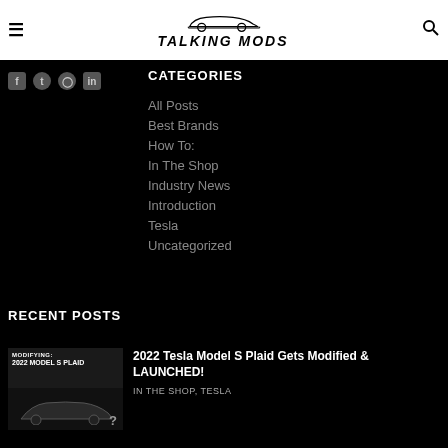TALKING MODS
CATEGORIES
All Posts
Best Brands
How To:
In The Shop
Industry News
Introduction
Tesla
Uncategorized
RECENT POSTS
[Figure (photo): Thumbnail image of a 2022 Tesla Model S Plaid car with text overlay]
2022 Tesla Model S Plaid Gets Modified & LAUNCHED!
IN THE SHOP, TESLA